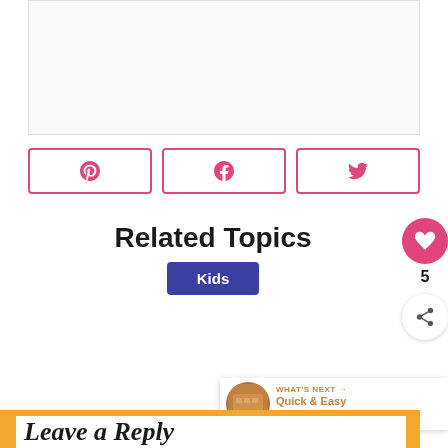[Figure (other): Light gray bordered rectangle placeholder area at the top of the page]
[Figure (other): Three social share buttons (Pinterest, Facebook, Twitter) with pink borders and social media icons]
Related Topics
Kids
[Figure (other): Floating pink heart button with count 5 and share icon on the right side]
[Figure (other): What's Next banner with thumbnail and text: Quick & Easy Felt Garland...]
Leave a Reply